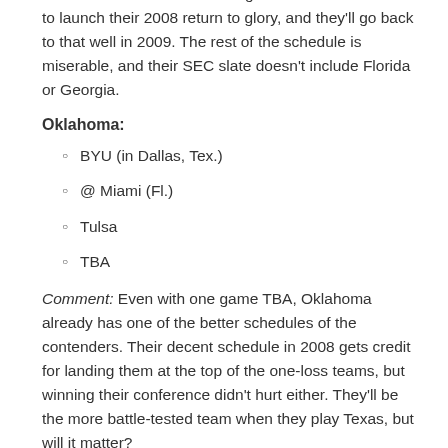Comment: The Tide used a big win over an ACC team to launch their 2008 return to glory, and they'll go back to that well in 2009. The rest of the schedule is miserable, and their SEC slate doesn't include Florida or Georgia.
Oklahoma:
BYU (in Dallas, Tex.)
@ Miami (Fl.)
Tulsa
TBA
Comment: Even with one game TBA, Oklahoma already has one of the better schedules of the contenders. Their decent schedule in 2008 gets credit for landing them at the top of the one-loss teams, but winning their conference didn't hurt either. They'll be the more battle-tested team when they play Texas, but will it matter?